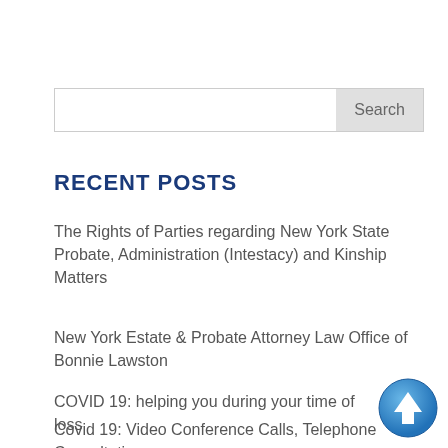[Figure (other): Search input field with Search button on the right side]
RECENT POSTS
The Rights of Parties regarding New York State Probate, Administration (Intestacy) and Kinship Matters
New York Estate & Probate Attorney Law Office of Bonnie Lawston
COVID 19: helping you during your time of loss
Covid 19: Video Conference Calls, Telephone Consultations
[Figure (other): Blue circular scroll-to-top arrow button in the bottom right corner]